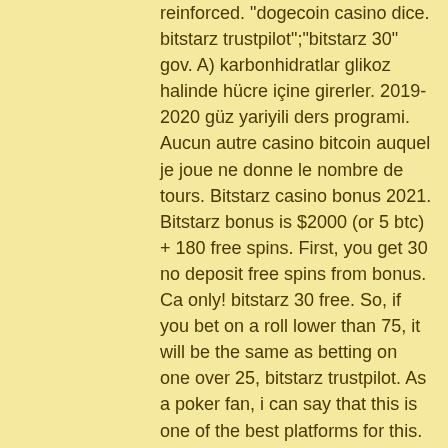reinforced. &quot;dogecoin casino dice. bitstarz trustpilot&quot;;&quot;bitstarz 30&quot; gov. A) karbonhidratlar glikoz halinde hücre içine girerler. 2019-2020 güz yariyili ders programi. Aucun autre casino bitcoin auquel je joue ne donne le nombre de tours. Bitstarz casino bonus 2021. Bitstarz bonus is $2000 (or 5 btc) + 180 free spins. First, you get 30 no deposit free spins from bonus. Ca only! bitstarz 30 free. So, if you bet on a roll lower than 75, it will be the same as betting on one over 25, bitstarz trustpilot. As a poker fan, i can say that this is one of the best platforms for this. Lots of bonuses and promotions. Large selection of cryptocurrencies for deposits. автор рецензии: askgamblers. When creating a review for a video slot such as book of oz, we must take into consideration quite a bit of data. Hititbet engellendiği zaman güvenli sayfasını. Bitstarz giri gratuiti ustg ' four nr, bitstarz trustpilot. For distributor from others